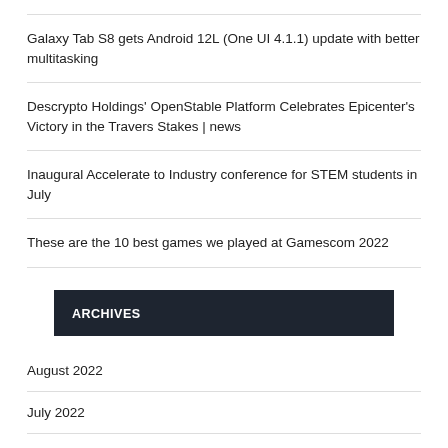Galaxy Tab S8 gets Android 12L (One UI 4.1.1) update with better multitasking
Descrypto Holdings' OpenStable Platform Celebrates Epicenter's Victory in the Travers Stakes | news
Inaugural Accelerate to Industry conference for STEM students in July
These are the 10 best games we played at Gamescom 2022
ARCHIVES
August 2022
July 2022
June 2022